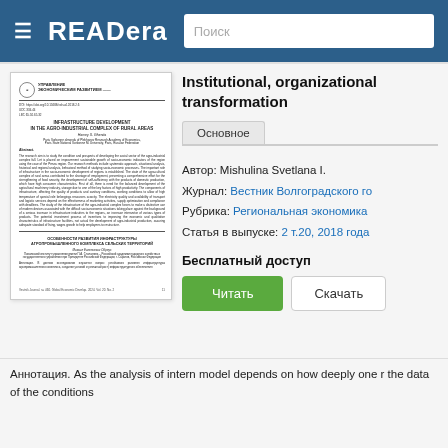READera | Поиск
[Figure (screenshot): Thumbnail of journal article page: УПРАВЛЕНИЕ ЭКОНОМИЧЕСКИМ РАЗВИТИЕМ, Infrastructure Development in the Agro-Industrial Complex of Rural Areas, by Harvey S. Ghentia]
Institutional, organizational transformation
Основное
Автор: Mishulina Svetlana I.
Журнал: Вестник Волгоградского го
Рубрика: Региональная экономика
Статья в выпуске: 2 т.20, 2018 года
Бесплатный доступ
Читать   Скачать
Аннотация. As the analysis of intern model depends on how deeply one r the data of the conditions